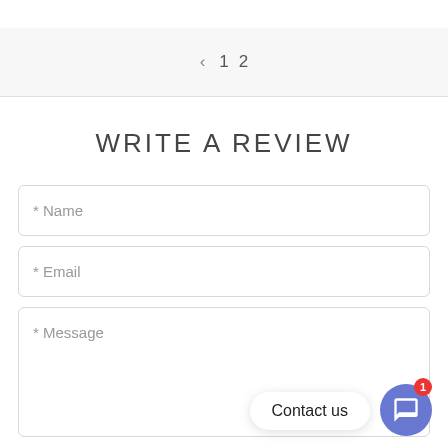‹ 1 2
WRITE A REVIEW
* Name
* Email
* Message
Contact us